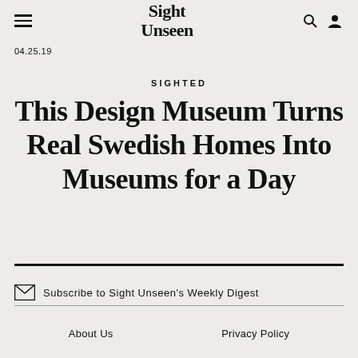Sight Unseen
04.25.19
SIGHTED
This Design Museum Turns Real Swedish Homes Into Museums for a Day
Subscribe to Sight Unseen's Weekly Digest
About Us   Privacy Policy